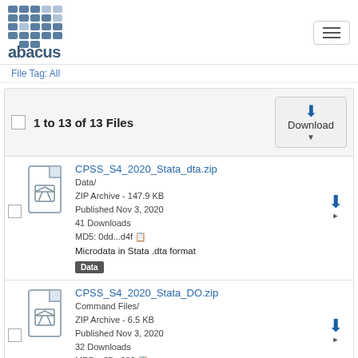abacus [logo] [hamburger menu]
File Tag: All
1 to 13 of 13 Files
CPSS_S4_2020_Stata_dta.zip | Data/ | ZIP Archive - 147.9 KB | Published Nov 3, 2020 | 41 Downloads | MD5: 0dd...d4f | Microdata in Stata .dta format | [Data]
CPSS_S4_2020_Stata_DO.zip | Command Files/ | ZIP Archive - 6.5 KB | Published Nov 3, 2020 | 32 Downloads | MD5: e35...686 | Stata commands for microdata file | [Command Files]